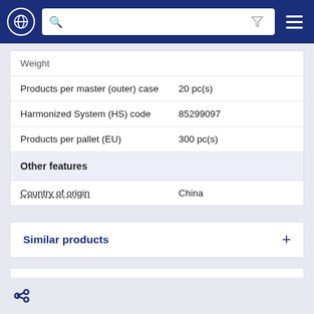| Weight |  |
| Products per master (outer) case | 20 pc(s) |
| Harmonized System (HS) code | 85299097 |
| Products per pallet (EU) | 300 pc(s) |
| Other features |  |
| Country of origin | China |
Similar products
Recommended products
Distributors